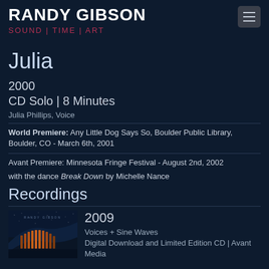RANDY GIBSON
SOUND | TIME | ART
Julia
2000
CD Solo | 8 Minutes
Julia Phillips, Voice
World Premiere: Any Little Dog Says So, Boulder Public Library, Boulder, CO - March 6th, 2001
Avant Premiere: Minnesota Fringe Festival - August 2nd, 2002
with the dance Break Down by Michelle Nance
Recordings
[Figure (photo): Album cover for Randy Gibson - Voices + Sine Waves, showing an abstract architectural or aerial image with curved structures]
2009
Voices + Sine Waves
Digital Download and Limited Edition CD | Avant Media